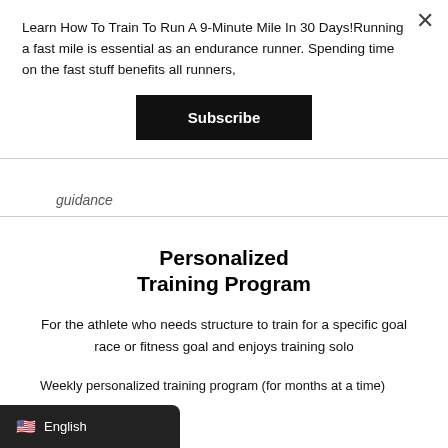Learn How To Train To Run A 9-Minute Mile In 30 Days!Running a fast mile is essential as an endurance runner. Spending time on the fast stuff benefits all runners,
Subscribe
guidance
Personalized Training Program
For the athlete who needs structure to train for a specific goal race or fitness goal and enjoys training solo
Weekly personalized training program (for months at a time)
English